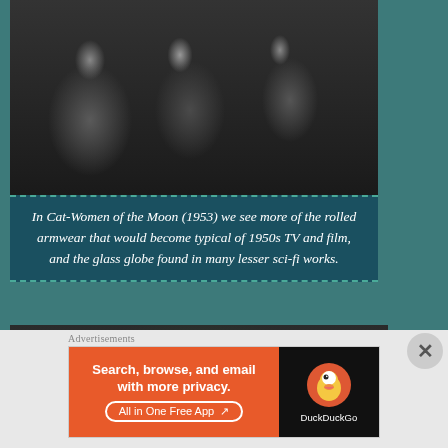[Figure (photo): Black and white still from Cat-Women of the Moon (1953) showing figures in space suits with helmet gear in what appears to be a spacecraft interior]
In Cat-Women of the Moon (1953) we see more of the rolled armwear that would become typical of 1950s TV and film, and the glass globe found in many lesser sci-fi works.
[Figure (photo): Black and white still showing two people lying down among rocks and foliage outdoors]
Advertisements
[Figure (other): DuckDuckGo advertisement banner: Search, browse, and email with more privacy. All in One Free App]